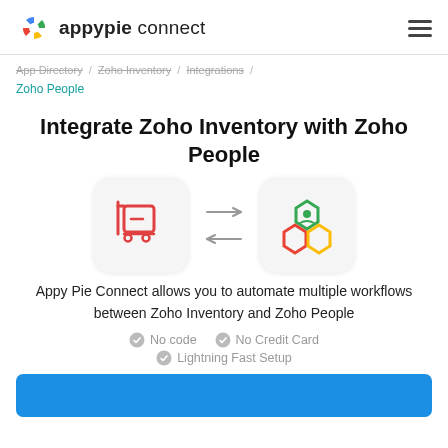appypie connect
App Directory / Zoho Inventory / Integrations / Zoho People
Integrate Zoho Inventory with Zoho People
[Figure (logo): Zoho Inventory icon (red cart) and Zoho People icon (colorful hexagon) with bidirectional arrows between them]
Appy Pie Connect allows you to automate multiple workflows between Zoho Inventory and Zoho People
No code   No Credit Card   Lightning Fast Setup